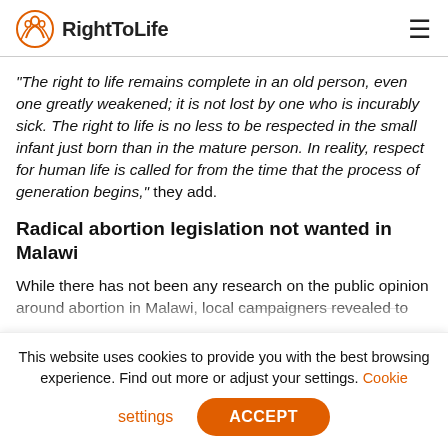RightToLife
“The right to life remains complete in an old person, even one greatly weakened; it is not lost by one who is incurably sick. The right to life is no less to be respected in the small infant just born than in the mature person. In reality, respect for human life is called for from the time that the process of generation begins,” they add.
Radical abortion legislation not wanted in Malawi
While there has not been any research on the public opinion around abortion in Malawi, local campaigners revealed to Right To Life UK that the
This website uses cookies to provide you with the best browsing experience. Find out more or adjust your settings. Cookie settings ACCEPT